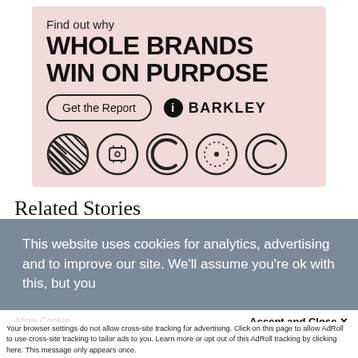[Figure (advertisement): Barkley ad banner on pink background. Text: 'Find out why WHOLE BRANDS WIN ON PURPOSE'. CTA button 'Get the Report' and Barkley logo. Five decorative circles with patterns below.]
Related Stories
[Figure (photo): Green and blue blurred background photo of plants/nature]
This website uses cookies for analytics, advertising and to improve our site. We'll assume you're ok with this, but you
Accept and Close ✕
Your browser settings do not allow cross-site tracking for advertising. Click on this page to allow AdRoll to use cross-site tracking to tailor ads to you. Learn more or opt out of this AdRoll tracking by clicking here. This message only appears once.